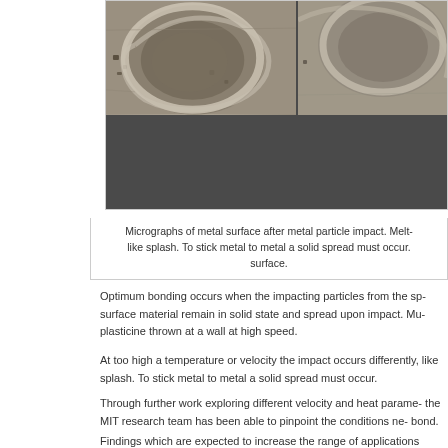[Figure (photo): Micrographs of metal surface after metal particle impact, showing crater-like indentations. Left panel shows a large circular crater with raised edges. Right panel shows a partial view of another crater. Lower portion shows a dark field/background area.]
Micrographs of metal surface after metal particle impact. Melt-like splash. To stick metal to metal a solid spread must occur. surface.
Optimum bonding occurs when the impacting particles from the sp- surface material remain in solid state and spread upon impact. Mu- plasticine thrown at a wall at high speed.
At too high a temperature or velocity the impact occurs differently, like splash. To stick metal to metal a solid spread must occur.
Through further work exploring different velocity and heat parame- the MIT research team has been able to pinpoint the conditions ne- bond.
Findings which are expected to increase the range of applications